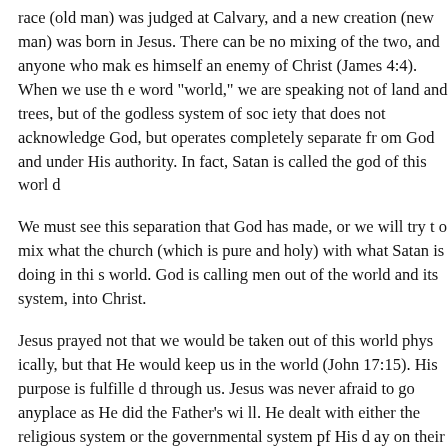race (old man) was judged at Calvary, and a new creation (new man) was born in Jesus. There can be no mixing of the two, and anyone who makes friends with the world makes himself an enemy of Christ (James 4:4). When we use the word "world," we are speaking not of land and trees, but of the godless system of society that does not acknowledge God, but operates completely separate from God and under His authority. In fact, Satan is called the god of this world
We must see this separation that God has made, or we will try to mix what the church (which is pure and holy) with what Satan is doing in this world. God is calling men out of the world and its system, into Christ.
Jesus prayed not that we would be taken out of this world physically, but that He would keep us in the world (John 17:15). His purpose is fulfilled through us. Jesus was never afraid to go anyplace as He did the Father's will. He dealt with either the religious system or the governmental system pf His day on their own level, and when men tried to trap Him, He said, "Render to Caesar the things that are Caesar's, and to God the things that are God's" (Luke 20:25). H